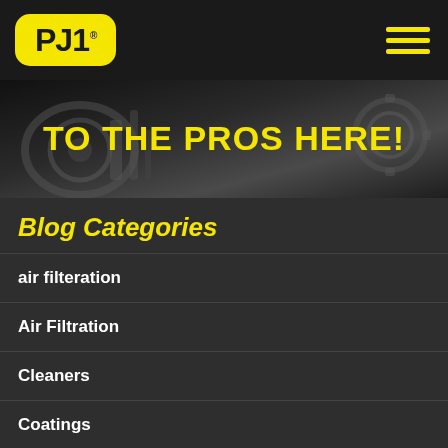PJ1
[Figure (screenshot): PJ1 hero banner with motorcycle parts background and yellow bold text reading TO THE PROS HERE!]
Blog Categories
air filteration
Air Filtration
Cleaners
Coatings
Fuel Enhancers